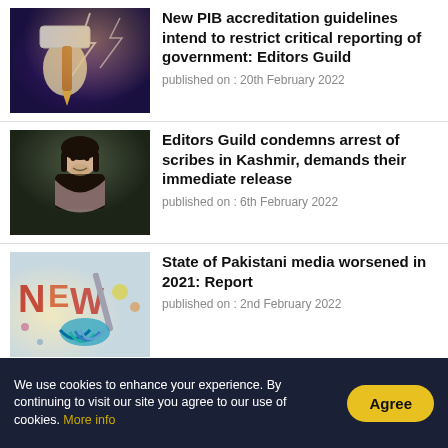[Figure (photo): Illustration of a fist holding a large hammer with a pen nib tip, lightning in background, dark purple tones]
New PIB accreditation guidelines intend to restrict critical reporting of government: Editors Guild
published on : 20th February 2022
[Figure (photo): Portrait photo of a young man with a dark scarf/shawl, outdoors with soft green background]
Editors Guild condemns arrest of scribes in Kashmir, demands their immediate release
published on : 6th February 2022
[Figure (illustration): Colorful illustration showing a mop cleaning graffiti letters, paint splatters, bright colors]
State of Pakistani media worsened in 2021: Report
published on : 2nd February 2022
We use cookies to enhance your experience. By continuing to visit our site you agree to our use of cookies. More info